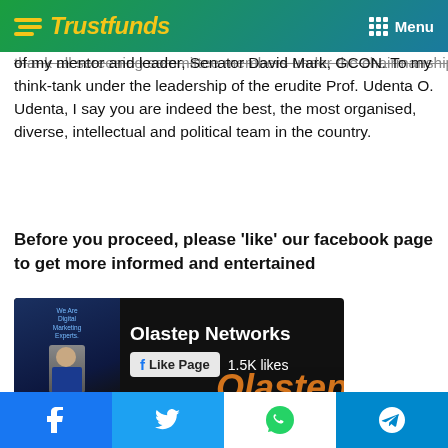Trustfunds — Menu
thank all screening committee members under the chairmanship of my mentor and leader, Senator David Mark, GCON. To my think-tank under the leadership of the erudite Prof. Udenta O. Udenta, I say you are indeed the best, the most organised, diverse, intellectual and political team in the country.
Before you proceed, please 'like' our facebook page to get more informed and entertained
[Figure (screenshot): Facebook Like Page widget for Olastep Networks showing 1.5K likes, with orange Olastep branding]
[Figure (screenshot): Dark blurred background image with SURESTEP text partially visible, WhatsApp chat popup saying 'Need Code to register? Chat with us']
Social share bar: Facebook, Twitter, WhatsApp, Telegram